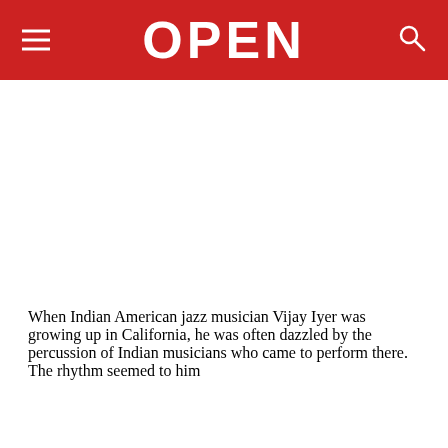OPEN
[Figure (other): Blank white image placeholder area below the header]
When Indian American jazz musician Vijay Iyer was growing up in California, he was often dazzled by the percussion of Indian musicians who came to perform there. The rhythm seemed to him